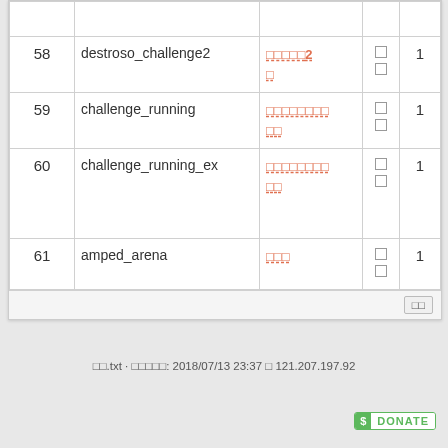| # | Name | Link |  |  |
| --- | --- | --- | --- | --- |
| 58 | destroso_challenge2 | □□□□□2
□ | □ | 1 |
| 59 | challenge_running | □□□□□□□□
□□ | □ | 1 |
| 60 | challenge_running_ex | □□□□□□□□
□□ | □ | 1 |
| 61 | amped_arena | □□□ | □ | 1 |
□□.txt · □□□□□: 2018/07/13 23:37 □ 121.207.197.92